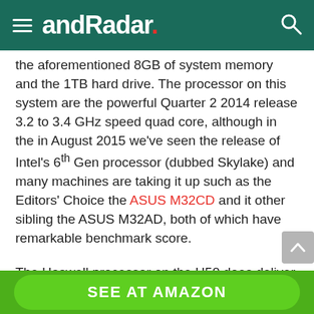andRadar.
the aforementioned 8GB of system memory and the 1TB hard drive. The processor on this system are the powerful Quarter 2 2014 release 3.2 to 3.4 GHz speed quad core, although in the in August 2015 we've seen the release of Intel's 6th Gen processor (dubbed Skylake) and many machines are taking it up such as the Editors' Choice the ASUS M32CD and it other sibling the ASUS M32AD, both of which have remarkable benchmark score.
The Haswell processor on the H50 does deliver responsive performance at even the most demanding tasks at home or office with turbo boost but no hyper threading (offers 4 cores and 4 threads performance). Storage comes via a 1TB (7200rpm) hard drive, a better solution than the
SEE AT AMAZON